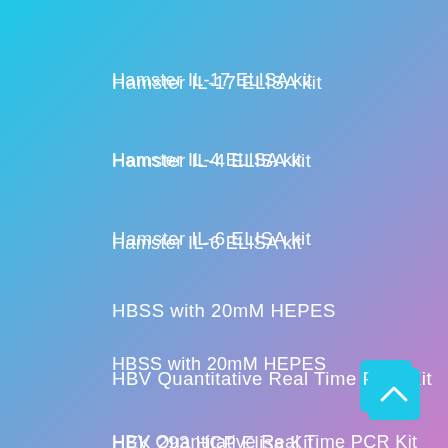Hamster IL-17 ELISA kit
Hamster IL-4 ELISA kit
Hamster IL-6 ELISA kit
HBSS with 20mM HEPES
HBV Quantitative Real Time PCR Kit
HEK 293 HCP Elisa Kit